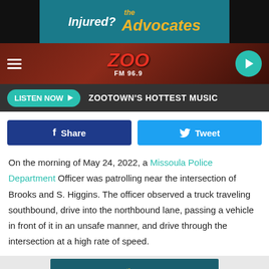[Figure (logo): The Advocates ad banner: 'Injured? the Advocates' on teal background]
[Figure (logo): Zoo FM 96.9 radio station navigation bar with hamburger menu and play button]
[Figure (screenshot): Listen Now button with 'ZOOTOWN'S HOTTEST MUSIC' text on dark bar]
[Figure (infographic): Share and Tweet social media buttons]
On the morning of May 24, 2022, a Missoula Police Department Officer was patrolling near the intersection of Brooks and S. Higgins. The officer observed a truck traveling southbound, drive into the northbound lane, passing a vehicle in front of it in an unsafe manner, and drive through the intersection at a high rate of speed.
[Figure (logo): The Advocates ad banner at bottom: 'Injured? the Advocates' on dark teal background]